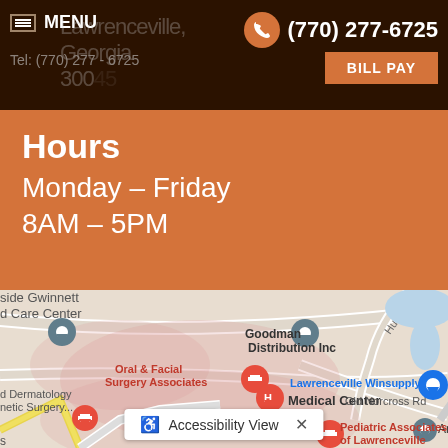MENU | (770) 277-6725 | BILL PAY | Lawrenceville, Georgia 30045 | Tel: (770) 277-6725
Hours
Monday – Friday
8AM – 5PM
[Figure (map): Google Maps screenshot showing Lawrenceville, Georgia area with markers for Oral & Facial Surgery Associates, Medical Center, Pediatric Associates of Lawrenceville, Goodman Distribution Inc, Lawrenceville Winsupply, and other nearby businesses. Streets include Hurricane Shoals and Old Norcross Rd.]
Accessibility View